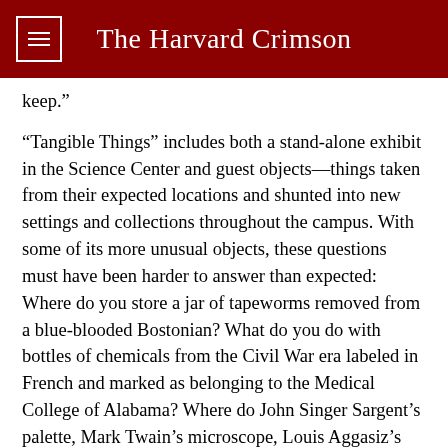The Harvard Crimson
keep.”
“Tangible Things” includes both a stand-alone exhibit in the Science Center and guest objects—things taken from their expected locations and shunted into new settings and collections throughout the campus. With some of its more unusual objects, these questions must have been harder to answer than expected: Where do you store a jar of tapeworms removed from a blue-blooded Bostonian? What do you do with bottles of chemicals from the Civil War era labeled in French and marked as belonging to the Medical College of Alabama? Where do John Singer Sargent’s palette, Mark Twain’s microscope, Louis Aggasiz’s Brazilian coffee beans, and Henry David Thoreau’s pencil belong? Students in the course are asked to visit the exhibit and complete assignments, and are encouraged to classify these objects that extend beyond rigid modern